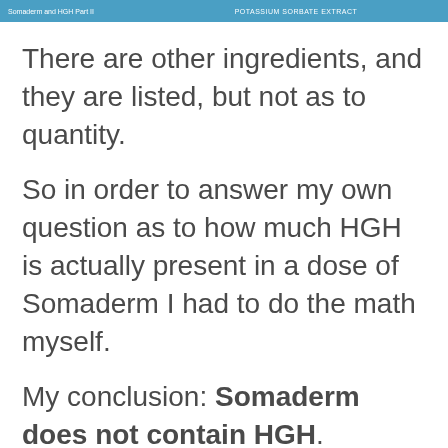Somaderm and HGH Part II   POTASSIUM SORBATE EXTRACT
There are other ingredients, and they are listed, but not as to quantity.
So in order to answer my own question as to how much HGH is actually present in a dose of Somaderm I had to do the math myself.
My conclusion: Somaderm does not contain HGH.